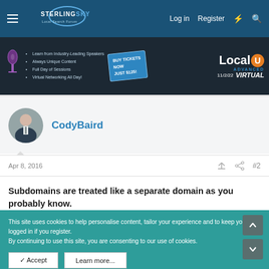Sterling Sky Local Search Forum — Log in  Register
[Figure (screenshot): Local U Advanced Virtual event advertisement banner — BUY TICKETS NOW JUST $125! on 11/2/22]
CodyBaird
Apr 8, 2016  #2
Subdomains are treated like a separate domain as you probably know.
This site uses cookies to help personalise content, tailor your experience and to keep you logged in if you register.
By continuing to use this site, you are consenting to our use of cookies.